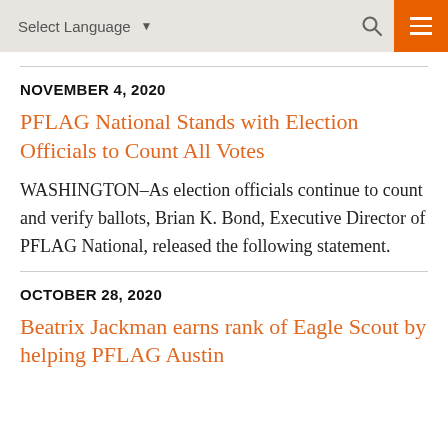Select Language  ▼  🔍  ☰
NOVEMBER 4, 2020
PFLAG National Stands with Election Officials to Count All Votes
WASHINGTON–As election officials continue to count and verify ballots, Brian K. Bond, Executive Director of PFLAG National, released the following statement.
OCTOBER 28, 2020
Beatrix Jackman earns rank of Eagle Scout by helping PFLAG Austin